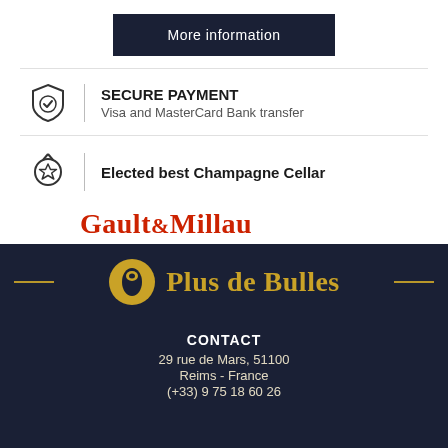More information
SECURE PAYMENT
Visa and MasterCard  Bank transfer
Elected best Champagne Cellar
Gault&Millau
[Figure (logo): Plus de Bulles logo with gold champagne bottle icon and gold text on dark navy background, with gold horizontal lines on either side]
CONTACT
29 rue de Mars, 51100
Reims - France
(+33) 9 75 18 60 26